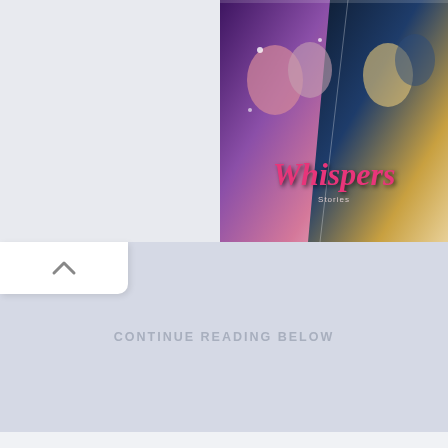[Figure (screenshot): Whispers game promotional image showing romantic characters with text 'Whispers' in pink cursive on a dark background with two panels of characters]
[Figure (screenshot): Collapse/chevron up button UI element - white rounded rectangle with up arrow caret]
CONTINUE READING BELOW
#4 Midaxo
[Figure (logo): Midaxo logo - orange/amber X letter mark on white background card]
[Figure (screenshot): Paid badge - blue/teal rounded rectangle button with text 'Paid']
[Figure (screenshot): Scroll up navigation button - blue square with white up arrow chevron, with up and down arrows above and below]